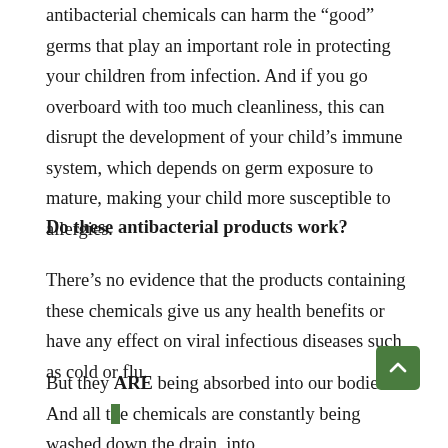antibacterial chemicals can harm the “good” germs that play an important role in protecting your children from infection. And if you go overboard with too much cleanliness, this can disrupt the development of your child’s immune system, which depends on germ exposure to mature, making your child more susceptible to allergies.
Do these antibacterial products work?
There’s no evidence that the products containing these chemicals give us any health benefits or have any effect on viral infectious diseases such as cold or flu.
But they ARE being absorbed into our bodies. And all the chemicals are constantly being washed down the drain, into